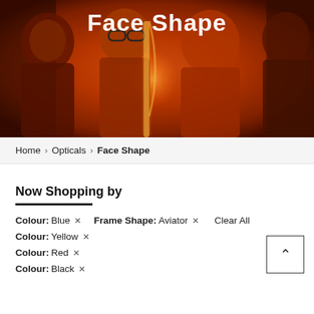[Figure (photo): Hero banner image showing people wearing eyeglasses in a warm orange/red-lit environment. Text 'Face Shape' appears at the top center in white bold font.]
Home > Opticals > Face Shape
Now Shopping by
Colour: Blue ×   Frame Shape: Aviator ×   Clear All
Colour: Yellow ×
Colour: Red ×
Colour: Black ×